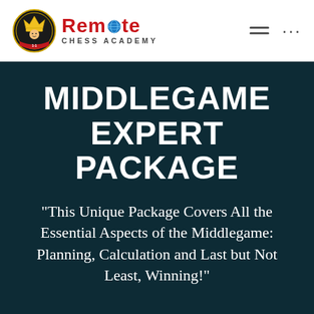Remote Chess Academy
MIDDLEGAME EXPERT PACKAGE
“This Unique Package Covers All the Essential Aspects of the Middlegame: Planning, Calculation and Last but Not Least, Winning!”